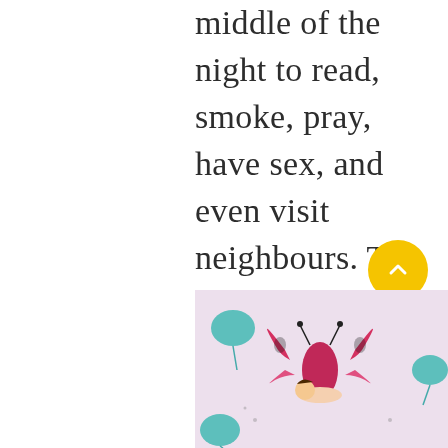middle of the night to read, smoke, pray, have sex, and even visit neighbours. The idea of 8 hours unbroken sleep simply did not exist then. But as Europe entered into the Industrial Revolution, a new myth was born. We came to believe that time-wasting was a sin, and that being productive was the highest ideal for mankind and the direct route to heaven. And the worship of productivity haunts us to this very day. We desire better sleep so that we can be more productive, more successful. Sleep has become a means to a practical, neurotic end.
[Figure (illustration): Illustration of a child sleeping on a large pink butterfly, surrounded by teal balloon-like flowers on a light lavender background]